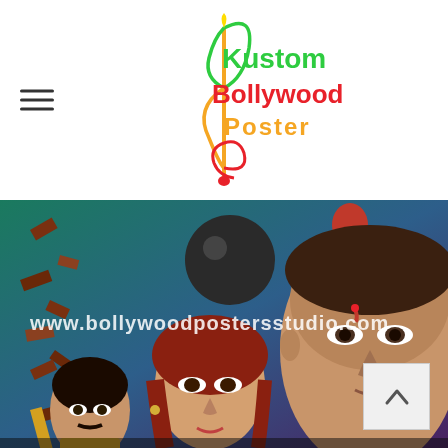Kustom Bollywood Poster
[Figure (logo): Kustom Bollywood Poster logo with a treble clef musical note icon in gradient colors (green, yellow, red, orange) and text 'Kustom Bollywood Poster' with 'Bollywood' in red/orange and 'Poster' in yellow/green]
[Figure (photo): Vintage Bollywood movie poster painting showing several actors: a man with a wristband in the lower left, a woman with red hair in the center, a large dramatic close-up of a male hero on the right with blood on his forehead, and various action elements including a cannonball and debris. Watermark text reads www.bollywoodpostersstudio.com]